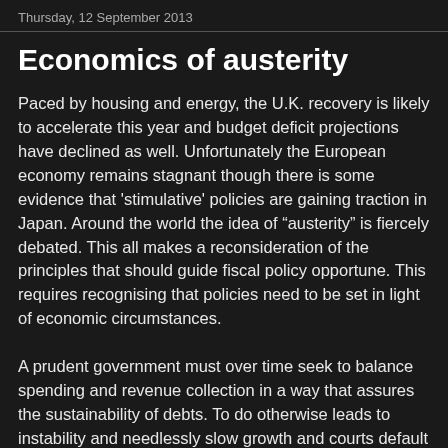Thursday, 12 September 2013
Economics of austerity
Paced by housing and energy, the U.K. recovery is likely to accelerate this year and budget deficit projections have declined as well. Unfortunately the European economy remains stagnant though there is some evidence that 'stimulative' policies are gaining traction in Japan. Around the world the idea of “austerity” is fiercely debated. This all makes a reconsideration of the principles that should guide fiscal policy opportune. This requires recognising that policies need to be set in light of economic circumstances.
A prudent government must over time seek to balance spending and revenue collection in a way that assures the sustainability of debts. To do otherwise leads to instability and needlessly slow growth and courts default and economic catastrophe. Equally, however, responsible fiscal policy requires recognizing that when economies are weak and movements in interest rates are constrained as has been the case in much of the industrial world in recent years